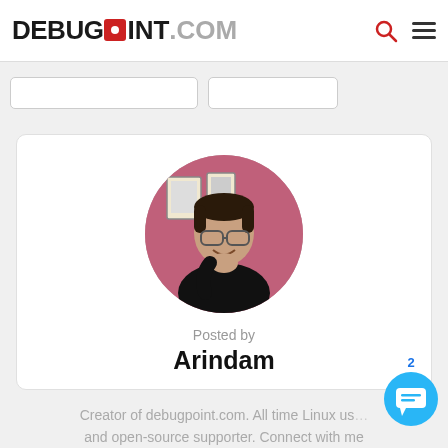DEBUGPOINT.COM
[Figure (photo): Circular profile photo of Arindam, a man wearing glasses and a black t-shirt, smiling with his hand on his chin, sitting in front of a pink wall with framed pictures]
Posted by
Arindam
Creator of debugpoint.com. All time Linux user and open-source supporter. Connect with me